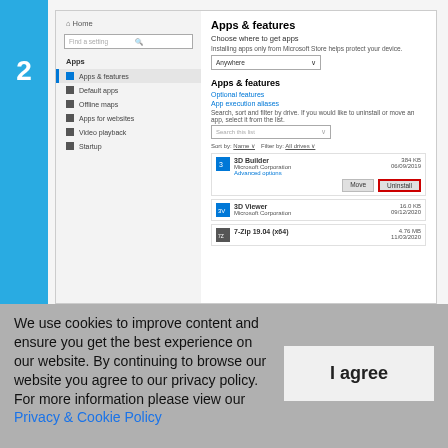[Figure (screenshot): Windows 10 Settings screenshot showing Apps & features panel. Left sidebar shows Apps section with items: Apps & features (active), Default apps, Offline maps, Apps for websites, Video playback, Startup. Right panel shows Apps & features with Choose where to get apps dropdown set to Anywhere, then Apps & features section with Optional features and App execution aliases links, search box, sort/filter row, and a list of apps including 3D Builder (expanded with Advanced options link and Move/Uninstall buttons), 3D Viewer, and 7-Zip. The Uninstall button for 3D Builder has a red border highlight. Number 2 appears on the left blue bar.]
We use cookies to improve content and ensure you get the best experience on our website. By continuing to browse our website you agree to our privacy policy.
For more information please view our Privacy & Cookie Policy